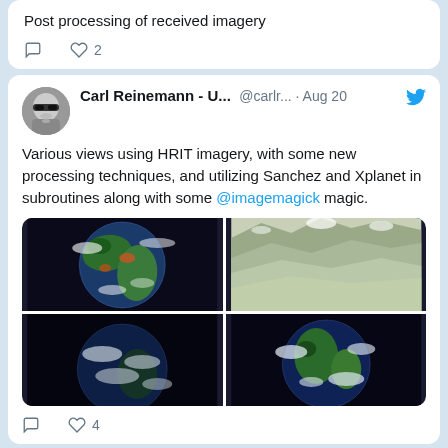Post processing of received imagery
0 comments, 2 likes
Carl Reinemann - U... @carlr... · Aug 20
Various views using HRIT imagery, with some new processing techniques, and utilizing Sanchez and Xplanet in subroutines along with some @imagemagick magic.
[Figure (photo): 2x2 grid of satellite/space imagery showing Earth views from HRIT data]
0 comments, 4 likes